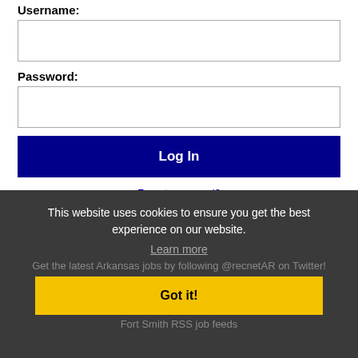Username:
Password:
Log In
Forgot password?
This website uses cookies to ensure you get the best experience on our website.
Learn more
Get the latest Arkansas jobs by following @recnetAR on Twitter!
Got it!
Fort Smith RSS job feeds